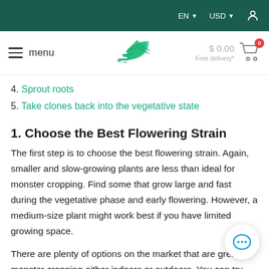EN  USD  [user icon]
menu  [logo]  $0.00  Free delivery*  [cart 0]
4. Sprout roots
5. Take clones back into the vegetative state
1. Choose the Best Flowering Strain
The first step is to choose the best flowering strain. Again, smaller and slow-growing plants are less than ideal for monster cropping. Find some that grow large and fast during the vegetative phase and early flowering. However, a medium-size plant might work best if you have limited growing space.
There are plenty of options on the market that are great for monster cropping either indoors or outdoors. You can try